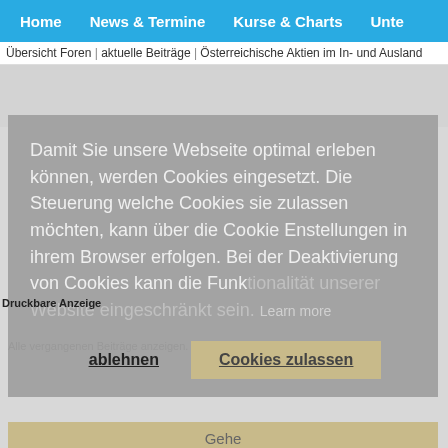Home | News & Termine | Kurse & Charts | Unte
Übersicht Foren | aktuelle Beiträge | Österreichische Aktien im In- und Ausland
Druckbare Anzeige
Damit Sie unsere Webseite optimal erleben können, werden Cookies eingesetzt. Die Steuerung welche Cookies sie zulassen möchten, kann über die Cookie Enstellungen in ihrem Browser erfolgen. Bei der Deaktivierung von Cookies kann die Funktionalität unserer Website eingeschränkt sein.  Learn more
ablehnen
Cookies zulassen
Gehe